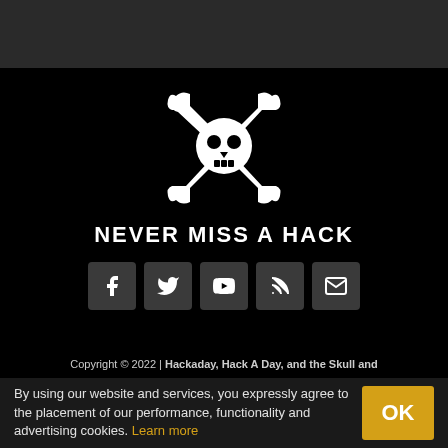[Figure (logo): Hackaday skull and crosswrenches logo — white skull with two crossed wrenches on black background]
NEVER MISS A HACK
[Figure (infographic): Row of 5 social media icon buttons: Facebook, Twitter, YouTube, RSS, Email — white icons on dark grey rounded square backgrounds]
Copyright © 2022 | Hackaday, Hack A Day, and the Skull and
By using our website and services, you expressly agree to the placement of our performance, functionality and advertising cookies. Learn more